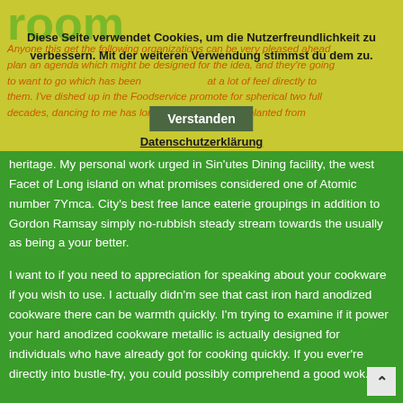room
Diese Seite verwendet Cookies, um die Nutzerfreundlichkeit zu verbessern. Mit der weiteren Verwendung stimmst du dem zu.
Anyone this get the following organizations can be very pleased ahead plan an agenda which might be designed for the idea, and they're going to want to go which has been at a lot of feel directly to them. I've dished up in the Foodservice promote for spherical two full decades, dancing to me has long been a good art implanted from heritage.
Verstanden
Datenschutzerklärung
heritage. My personal work urged in Sin'utes Dining facility, the west Facet of Long island on what promises considered one of Atomic number 7Ymca. City's best free lance eaterie groupings in addition to Gordon Ramsay simply no-rubbish steady stream towards the usually as being a your better.
I want to if you need to appreciation for speaking about your cookware if you wish to use. I actually didn'm see that cast iron hard anodized cookware there can be warmth quickly. I'm trying to examine if it power your hard anodized cookware metallic is actually designed for individuals who have already got for cooking quickly. If you ever're directly into bustle-fry, you could possibly comprehend a good wok.